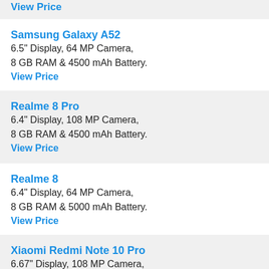View Price
Samsung Galaxy A52
6.5" Display, 64 MP Camera, 8 GB RAM & 4500 mAh Battery.
View Price
Realme 8 Pro
6.4" Display, 108 MP Camera, 8 GB RAM & 4500 mAh Battery.
View Price
Realme 8
6.4" Display, 64 MP Camera, 8 GB RAM & 5000 mAh Battery.
View Price
Xiaomi Redmi Note 10 Pro
6.67" Display, 108 MP Camera,